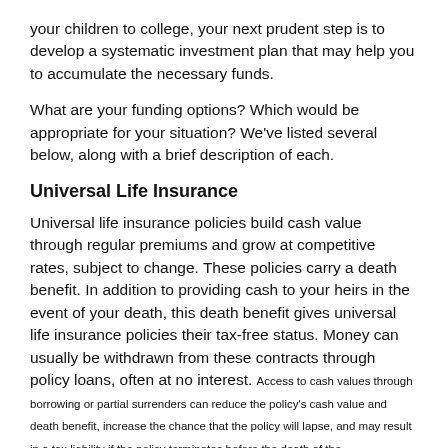your children to college, your next prudent step is to develop a systematic investment plan that may help you to accumulate the necessary funds.
What are your funding options? Which would be appropriate for your situation? We've listed several below, along with a brief description of each.
Universal Life Insurance
Universal life insurance policies build cash value through regular premiums and grow at competitive rates, subject to change. These policies carry a death benefit. In addition to providing cash to your heirs in the event of your death, this death benefit gives universal life insurance policies their tax-free status. Money can usually be withdrawn from these contracts through policy loans, often at no interest. Access to cash values through borrowing or partial surrenders can reduce the policy's cash value and death benefit, increase the chance that the policy will lapse, and may result in a tax liability if the policy terminates before the death of the insured. Policy loans and withdrawals will reduce the policy's cash value and